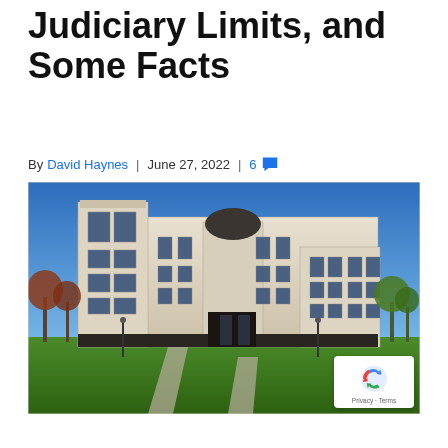Judiciary Limits, and Some Facts
By David Haynes | June 27, 2022 | 6 comments
[Figure (photo): Exterior photograph of a large white neoclassical/art-deco government or judicial building with a blue sky background, green lawn in the foreground, and trees with red-brown autumn foliage on either side. Pathways cross the lawn leading to the building entrance.]